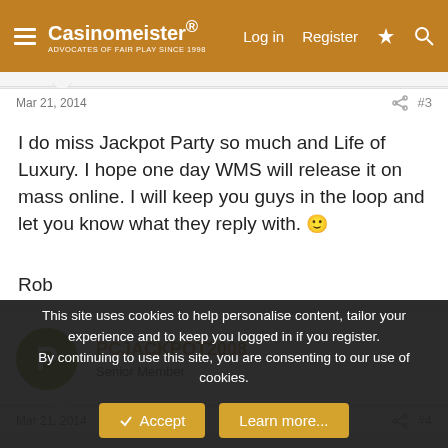Casinomeister — Log in   Register
Mar 21, 2014   #3
I do miss Jackpot Party so much and Life of Luxury. I hope one day WMS will release it on mass online. I will keep you guys in the loop and let you know what they reply with. 🙂
Rob
PCJACKPOT2008
Senior Member
Mar 21, 2014   #4
This site uses cookies to help personalise content, tailor your experience and to keep you logged in if you register.
By continuing to use this site, you are consenting to our use of cookies.